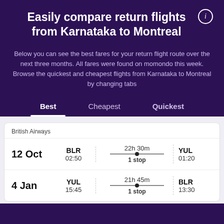Easily compare return flights from Karnataka to Montreal
Below you can see the best fares for your return flight route over the next three months. All fares were found on momondo this week. Browse the quickest and cheapest flights from Karnataka to Montreal by changing tabs
Best
Cheapest
Quickest
| Date | From | Duration/Stops | To |
| --- | --- | --- | --- |
| 12 Oct | BLR 02:50 | 22h 30m 1 stop | YUL 01:20 |
| 4 Jan | YUL 15:45 | 21h 45m 1 stop | BLR 13:30 |